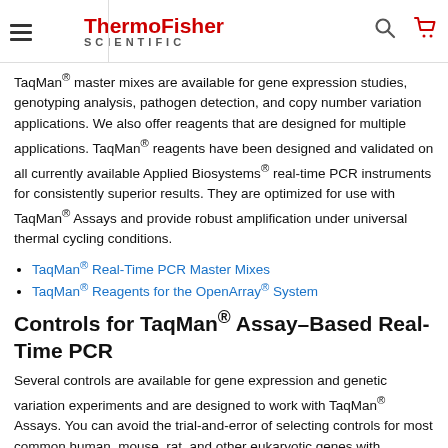ThermoFisher Scientific
TaqMan® master mixes are available for gene expression studies, genotyping analysis, pathogen detection, and copy number variation applications. We also offer reagents that are designed for multiple applications. TaqMan® reagents have been designed and validated on all currently available Applied Biosystems® real-time PCR instruments for consistently superior results. They are optimized for use with TaqMan® Assays and provide robust amplification under universal thermal cycling conditions.
TaqMan® Real-Time PCR Master Mixes
TaqMan® Reagents for the OpenArray® System
Controls for TaqMan® Assay–Based Real-Time PCR
Several controls are available for gene expression and genetic variation experiments and are designed to work with TaqMan® Assays. You can avoid the trial-and-error of selecting controls for most common human, mouse, rat, and other eukaryotic genes with